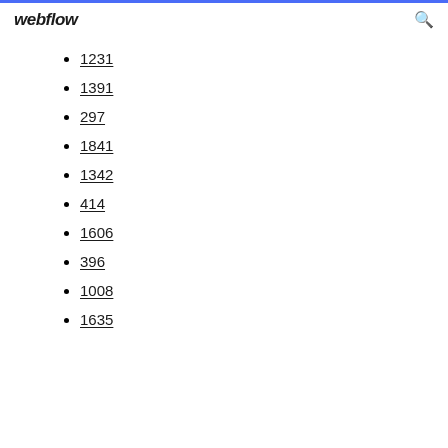webflow
1231
1391
297
1841
1342
414
1606
396
1008
1635